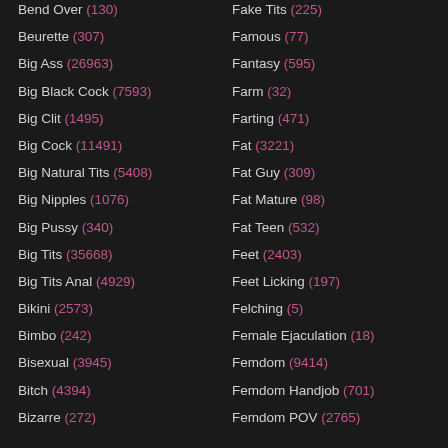Bend Over (130)
Fake Tits (225)
Beurette (307)
Famous (77)
Big Ass (26963)
Fantasy (595)
Big Black Cock (7593)
Farm (32)
Big Clit (1495)
Farting (471)
Big Cock (11491)
Fat (3221)
Big Natural Tits (5408)
Fat Guy (309)
Big Nipples (1076)
Fat Mature (98)
Big Pussy (340)
Fat Teen (532)
Big Tits (35668)
Feet (2403)
Big Tits Anal (4929)
Feet Licking (197)
Bikini (2573)
Felching (5)
Bimbo (242)
Female Ejaculation (18)
Bisexual (3945)
Femdom (9414)
Bitch (4394)
Femdom Handjob (701)
Bizarre (272)
Femdom POV (2765)